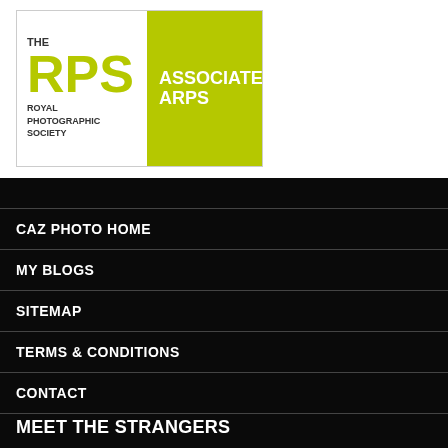[Figure (logo): The RPS Royal Photographic Society logo with ASSOCIATE ARPS badge]
CAZ PHOTO HOME
MY BLOGS
SITEMAP
TERMS & CONDITIONS
CONTACT
MEET THE STRANGERS